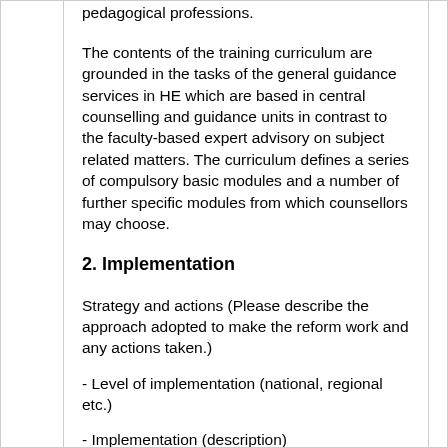pedagogical professions.
The contents of the training curriculum are grounded in the tasks of the general guidance services in HE which are based in central counselling and guidance units in contrast to the faculty-based expert advisory on subject related matters. The curriculum defines a series of compulsory basic modules and a number of further specific modules from which counsellors may choose.
2. Implementation
Strategy and actions (Please describe the approach adopted to make the reform work and any actions taken.)
- Level of implementation (national, regional etc.)
- Implementation (description)
Since 2009, the draft of the training curriculum, which was developed by